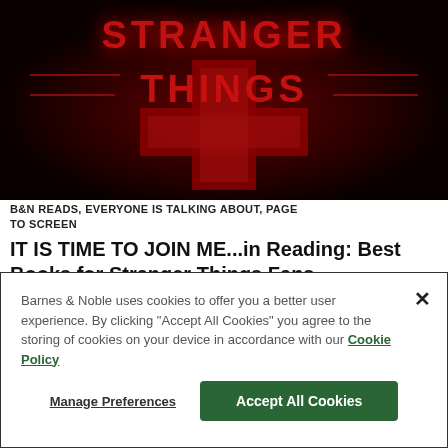[Figure (screenshot): Stranger Things Season 4 logo on dark red/black background showing the stylized 'STRANGER THINGS' text with a large red cross/number 4 symbol]
B&N READS, EVERYONE IS TALKING ABOUT, PAGE TO SCREEN
IT IS TIME TO JOIN ME...in Reading: Best Books for Stranger Things Fans
Barnes & Noble uses cookies to offer you a better user experience. By clicking "Accept All Cookies" you agree to the storing of cookies on your device in accordance with our Cookie Policy
Manage Preferences | Accept All Cookies